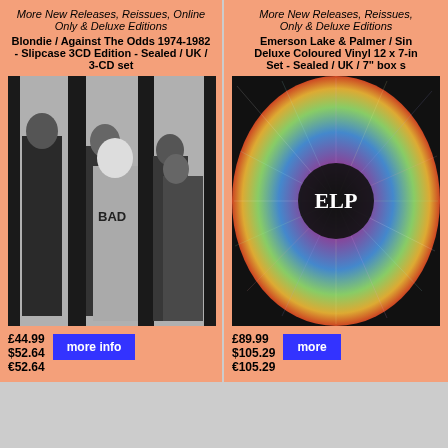More New Releases, Reissues, Online Only & Deluxe Editions
Blondie / Against The Odds 1974-1982 - Slipcase 3CD Edition - Sealed / UK / 3-CD set
[Figure (photo): Black and white photo of Blondie band members]
£44.99
$52.64
€52.64
More New Releases, Reissues, Online Only & Deluxe Editions
Emerson Lake & Palmer / Sin Deluxe Coloured Vinyl 12 x 7-in Set - Sealed / UK / 7" box s
[Figure (photo): Colourful psychedelic spiral ELP album cover]
£89.99
$105.29
€105.29